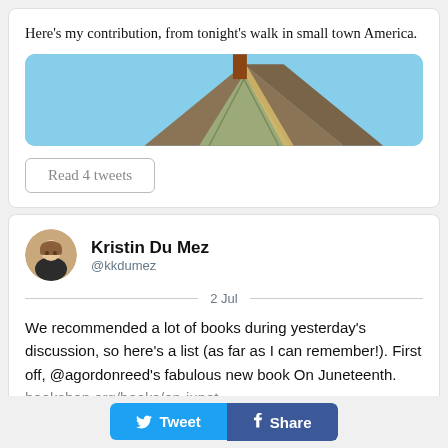Here's my contribution, from tonight's walk in small town America.
[Figure (photo): Photo of the peak of a house roof with a triangular gable against a blue sky]
Read 4 tweets
[Figure (photo): Circular avatar photo of Kristin Du Mez]
Kristin Du Mez @kkdumez
2 Jul
We recommended a lot of books during yesterday's discussion, so here's a list (as far as I can remember!). First off, @agordonreed's fabulous new book On Juneteenth. bookshop.org/books/on-junet…